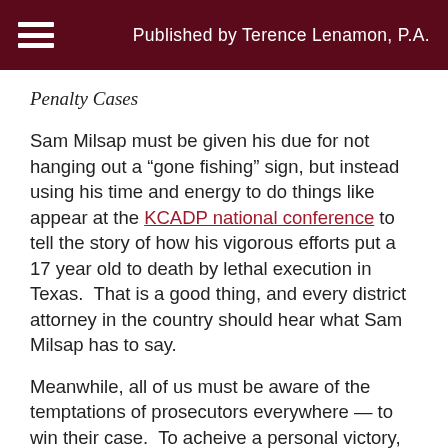Published by Terence Lenamon, P.A.
Penalty Cases
Sam Milsap must be given his due for not hanging out a “gone fishing” sign, but instead using his time and energy to do things like appear at the KCADP national conference to tell the story of how his vigorous efforts put a 17 year old to death by lethal execution in Texas.  That is a good thing, and every district attorney in the country should hear what Sam Milsap has to say.
Meanwhile, all of us must be aware of the temptations of prosecutors everywhere — to win their case.  To acheive a personal victory, to pursue a reputation as an advocate as well as doing the job